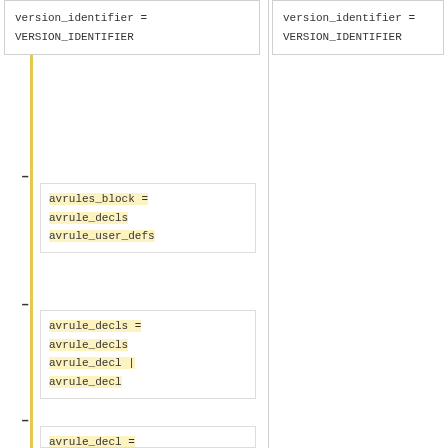version_identifier = VERSION_IDENTIFIER
version_identifier = VERSION_IDENTIFIER
avrules_block = avrule_decls avrule_user_defs
avrule_decls = avrule_decls avrule_decl | avrule_decl
avrule_decl = rbac_decl | te_decl | cond_stmt_def | require_block | optional_block | ';'